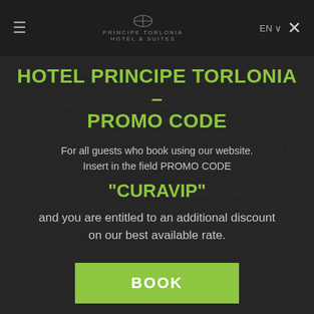≡   PRINCIPE TORLONIA HOTEL   EN ✕
HOTEL PRINCIPE TORLONIA – PROMO CODE
For all guests who book using our website.
Insert in the field PROMO CODE
"CURAVIP"
and you are entitled to an additional discount on our best available rate.
BOOK
Fax: +39 06 8983 1004
E-Mail: info@hotelprincipetorlonia.com